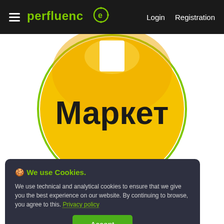perfluence  Login  Registration
[Figure (logo): Yandex Market logo: a large yellow circle with a green circular border, showing the text 'Маркет' in bold black letters and a white rectangular shape at the top suggesting a button or label.]
🍪 We use Cookies.
We use technical and analytical cookies to ensure that we give you the best experience on our website. By continuing to browse, you agree to this. Privacy policy
[Accept]
would quickly screw up. And now this is our